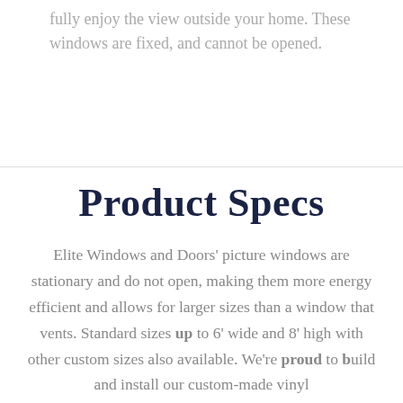fully enjoy the view outside your home. These windows are fixed, and cannot be opened.
Product Specs
Elite Windows and Doors' picture windows are stationary and do not open, making them more energy efficient and allows for larger sizes than a window that vents. Standard sizes up to 6' wide and 8' high with other custom sizes also available. We're proud to build and install our custom-made vinyl